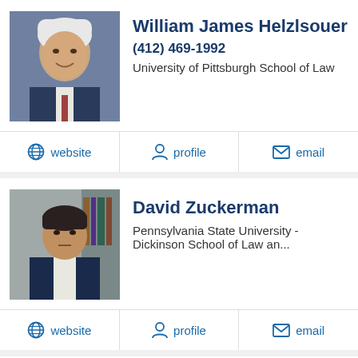William James Helzlsouer
(412) 469-1992
University of Pittsburgh School of Law
website | profile | email
David Zuckerman
Pennsylvania State University - Dickinson School of Law an...
website | profile | email
Richard Joyce
(412) 281-9919
Duquesne University
website | profile | email